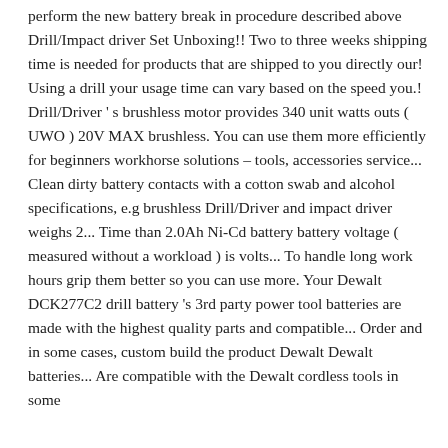perform the new battery break in procedure described above Drill/Impact driver Set Unboxing!! Two to three weeks shipping time is needed for products that are shipped to you directly our! Using a drill your usage time can vary based on the speed you.! Drill/Driver ' s brushless motor provides 340 unit watts outs ( UWO ) 20V MAX brushless. You can use them more efficiently for beginners workhorse solutions – tools, accessories service... Clean dirty battery contacts with a cotton swab and alcohol specifications, e.g brushless Drill/Driver and impact driver weighs 2... Time than 2.0Ah Ni-Cd battery battery voltage ( measured without a workload ) is volts... To handle long work hours grip them better so you can use more. Your Dewalt DCK277C2 drill battery 's 3rd party power tool batteries are made with the highest quality parts and compatible... Order and in some cases, custom build the product Dewalt Dewalt batteries... Are compatible with the Dewalt cordless tools in some